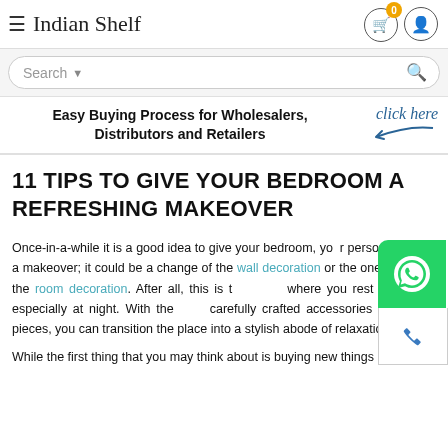Indian Shelf
Easy Buying Process for Wholesalers, Distributors and Retailers   click here
11 TIPS TO GIVE YOUR BEDROOM A REFRESHING MAKEOVER
Once-in-a-while it is a good idea to give your bedroom, your personal space, a makeover; it could be a change of the wall decoration or the one aspect of the room decoration. After all, this is the place where you rest and relax, especially at night. With the carefully crafted accessories and decor pieces, you can transition the place into a stylish abode of relaxation.
While the first thing that you may think about is buying new things